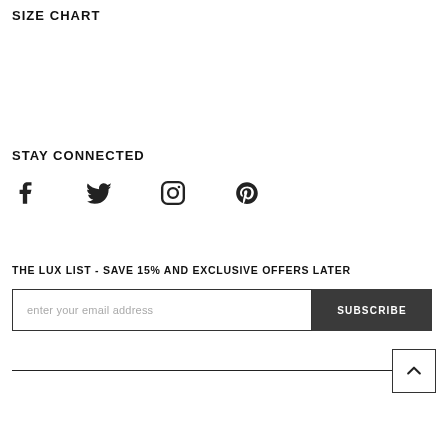SIZE CHART
STAY CONNECTED
[Figure (illustration): Social media icons: Facebook, Twitter, Instagram, Pinterest]
THE LUX LIST - SAVE 15% AND EXCLUSIVE OFFERS LATER
enter your email address | SUBSCRIBE